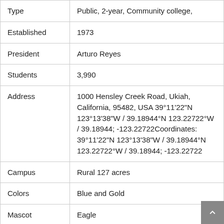| Field | Value |
| --- | --- |
| Type | Public, 2-year, Community college, |
| Established | 1973 |
| President | Arturo Reyes |
| Students | 3,990 |
| Address | 1000 Hensley Creek Road, Ukiah, California, 95482, USA 39°11'22"N 123°13'38"W / 39.18944°N 123.22722°W / 39.18944; -123.22722Coordinates: 39°11'22"N 123°13'38"W / 39.18944°N 123.22722°W / 39.18944; -123.22722 |
| Campus | Rural 127 acres |
| Colors | Blue and Gold |
| Mascot | Eagle |
| Website | mendocino.edu |